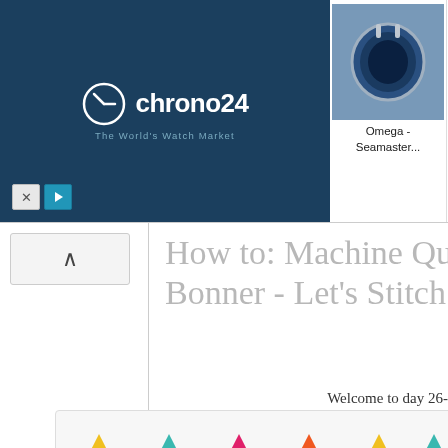[Figure (screenshot): Chrono24 advertisement banner with dark navy background showing the Chrono24 logo (The World's Watch Market) on the left side and four watch thumbnails on the right: Omega Seamaster, Omega Seamaster, Rolex Submariner, Omega Seamaster. Close (X) and play buttons visible at bottom left of ad.]
[Figure (screenshot): Navigation sidebar element showing an upward-pointing chevron/arrow button on a light gray background, used for scrolling up the page.]
How to: Machine Quilt... Bonner - Let's Stitch a...
Welcome to day 26-
[Figure (illustration): Colorful graphic showing two rows of shapes: top row has triangles in yellow, teal, pink/magenta, orange, yellow, teal; bottom row has circles in yellow, teal, pink/magenta, orange, yellow, teal. Displayed on a light gray rounded-corner box.]
Today Natalia will walk yo...
You ...